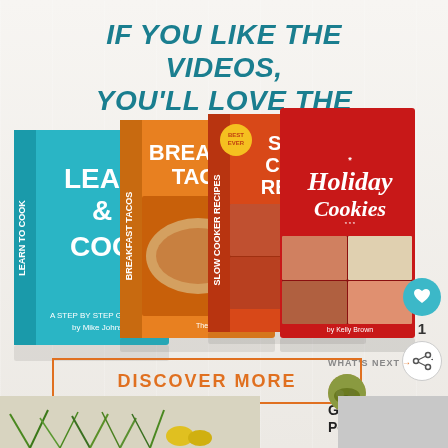IF YOU LIKE THE VIDEOS, YOU'LL LOVE THE BOOKS!
[Figure (illustration): Stack of four cookbook covers: Learn to Cook, Breakfast Tacos, Slow Cooker Recipes, Holiday Cookies]
DISCOVER MORE
[Figure (infographic): Heart icon with count 1 and share icon on the right side]
WHAT'S NEXT → German Potato Salad